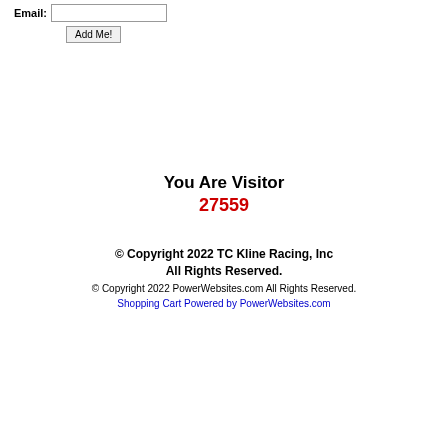Email: [input field] Add Me!
You Are Visitor 27559
© Copyright 2022 TC Kline Racing, Inc All Rights Reserved.
© Copyright 2022 PowerWebsites.com All Rights Reserved.
Shopping Cart Powered by PowerWebsites.com